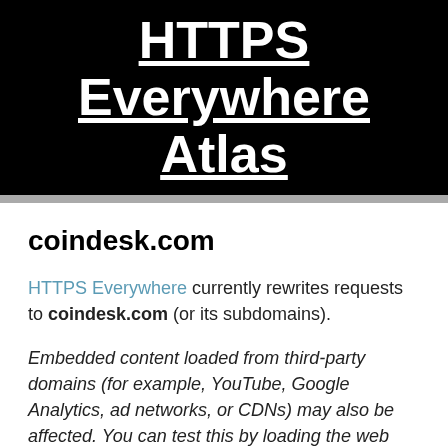HTTPS Everywhere Atlas
coindesk.com
HTTPS Everywhere currently rewrites requests to coindesk.com (or its subdomains).
Embedded content loaded from third-party domains (for example, YouTube, Google Analytics, ad networks, or CDNs) may also be affected. You can test this by loading the web page in question in a browser with HTTPS Everywhere installed and pulling down the